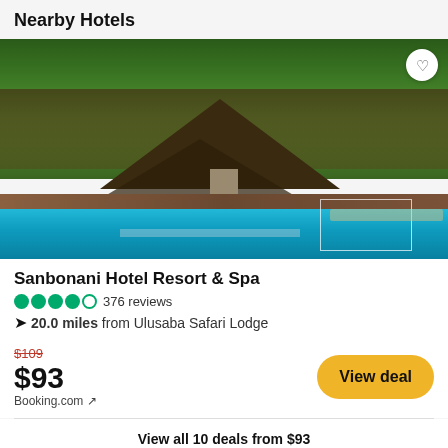Nearby Hotels
[Figure (photo): Hotel resort pool area with thatched roof structure, lush tropical trees, and a large blue swimming pool with deck chairs. A white circle with heart icon appears in top-right corner.]
Sanbonani Hotel Resort & Spa
4 filled circles, 1 empty circle rating — 376 reviews
20.0 miles from Ulusaba Safari Lodge
$109 (strikethrough)
$93
Booking.com ↗
View deal
View all 10 deals from $93